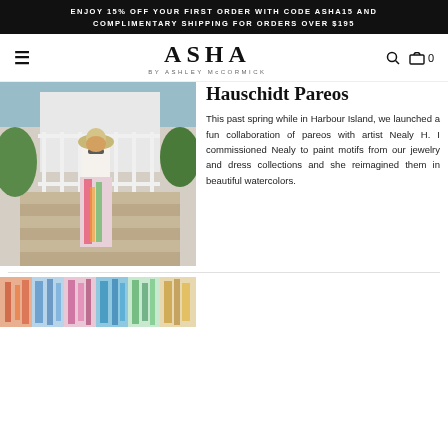ENJOY 15% OFF YOUR FIRST ORDER WITH CODE ASHA15 AND COMPLIMENTARY SHIPPING FOR ORDERS OVER $195
ASHA BY ASHLEY McCORMICK
Hauschidt Pareos
This past spring while in Harbour Island, we launched a fun collaboration of pareos with artist Nealy H. I commissioned Nealy to paint motifs from our jewelry and dress collections and she reimagined them in beautiful watercolors.
[Figure (photo): Woman wearing a white top and floral pareo walking down wooden steps outdoors, wearing a hat and sunglasses]
[Figure (photo): Bottom strip showing colorful pareos in various floral prints]